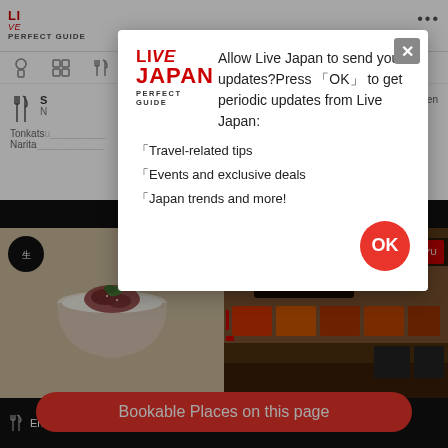[Figure (screenshot): Live Japan Perfect Guide website background showing navigation bar with logo, category icons, restaurant listings for Tonkatsu and Narita, and a photo grid with two restaurant photos: a food bowl image (En Narita Kukon Daiichi) and a restaurant storefront (BOTEJYU YATAI). A modal dialog overlays the page asking to allow push notifications with OK button. A red 'Bookable Places on this page' button appears at the bottom.]